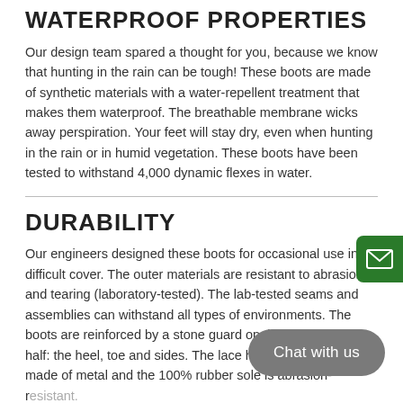WATERPROOF PROPERTIES
Our design team spared a thought for you, because we know that hunting in the rain can be tough! These boots are made of synthetic materials with a water-repellent treatment that makes them waterproof. The breathable membrane wicks away perspiration. Your feet will stay dry, even when hunting in the rain or in humid vegetation. These boots have been tested to withstand 4,000 dynamic flexes in water.
DURABILITY
Our engineers designed these boots for occasional use in difficult cover. The outer materials are resistant to abrasion and tearing (laboratory-tested). The lab-tested seams and assemblies can withstand all types of environments. The boots are reinforced by a stone guard on the entire lower half: the heel, toe and sides. The lace hooks and eyelets are made of metal and the 100% rubber sole is abrasion-resistant.
GRIP